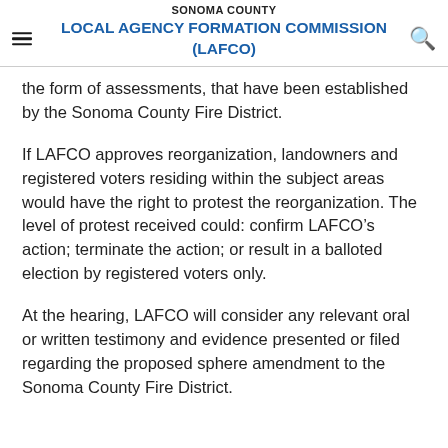SONOMA COUNTY LOCAL AGENCY FORMATION COMMISSION (LAFCO)
the form of assessments, that have been established by the Sonoma County Fire District.
If LAFCO approves reorganization, landowners and registered voters residing within the subject areas would have the right to protest the reorganization. The level of protest received could: confirm LAFCO’s action; terminate the action; or result in a balloted election by registered voters only.
At the hearing, LAFCO will consider any relevant oral or written testimony and evidence presented or filed regarding the proposed sphere amendment to the Sonoma County Fire District.